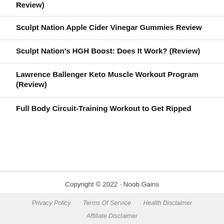Review)
Sculpt Nation Apple Cider Vinegar Gummies Review
Sculpt Nation's HGH Boost: Does It Work? (Review)
Lawrence Ballenger Keto Muscle Workout Program (Review)
Full Body Circuit-Training Workout to Get Ripped
Copyright © 2022 · Noob Gains
Privacy Policy   Terms Of Service   Health Disclaimer   Affiliate Disclaimer